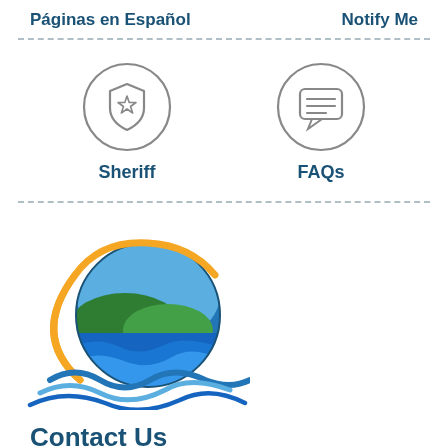Páginas en Español
Notify Me
[Figure (illustration): Sheriff badge icon inside a circle — outline style, grey]
Sheriff
[Figure (illustration): Chat/FAQ speech bubble icon inside a circle — outline style, grey]
FAQs
[Figure (logo): County/municipal logo: circular badge with green hills, blue sky, blue ocean waves, and an orange arc on the left side]
Contact Us